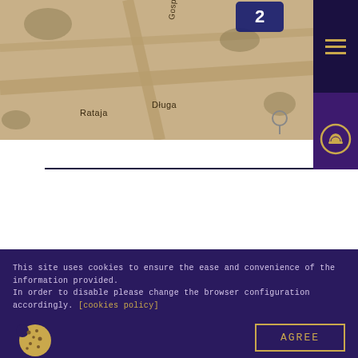[Figure (map): Sepia-toned overhead map view showing street names Rataja, Dluga, Gosporow, with a blue location marker pin labeled 2]
[Figure (logo): Dark navy hamburger menu icon (three gold lines) on dark background, top right corner]
[Figure (logo): Purple box with circular logo icon featuring helmet/person symbol]
[Figure (logo): Partial circular arc logo visible at top of dark footer band]
This site uses cookies to ensure the ease and convenience of the information provided. In order to disable please change the browser configuration accordingly. [cookies policy]
[Figure (illustration): Cookie icon - round cookie with chocolate chips and a bite taken out]
AGREE